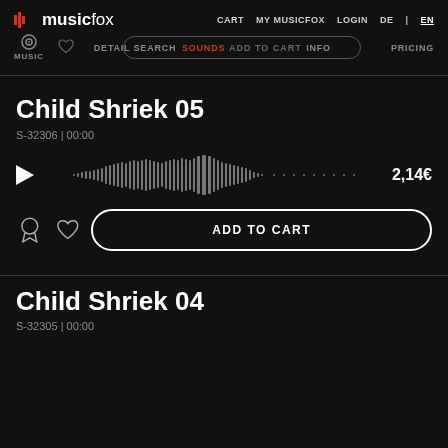musicfox | CART MY MUSICFOX LOGIN DE | EN | MUSIC DETAIL SEARCH SOUNDS INFO PRICING
Child Shriek 05
S-32306 | 00:00
[Figure (other): Audio waveform visualization with play button and price 2,14€]
ADD TO CART
Child Shriek 04
S-32305 | 00:00